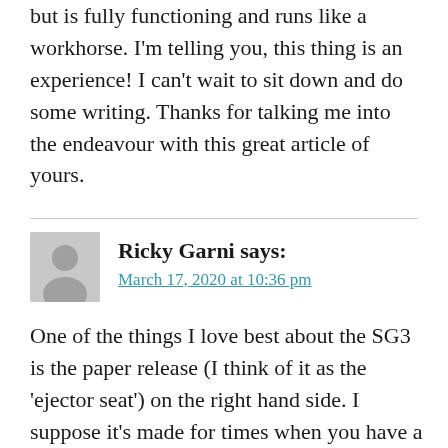but is fully functioning and runs like a workhorse. I'm telling you, this thing is an experience! I can't wait to sit down and do some writing. Thanks for talking me into the endeavour with this great article of yours.
Ricky Garni says: March 17, 2020 at 10:36 pm
One of the things I love best about the SG3 is the paper release (I think of it as the 'ejector seat') on the right hand side. I suppose it's made for times when you have a whoppin' long piece of paper in